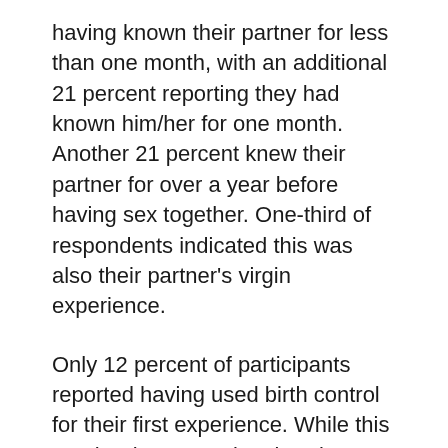having known their partner for less than one month, with an additional 21 percent reporting they had known him/her for one month. Another 21 percent knew their partner for over a year before having sex together. One-third of respondents indicated this was also their partner's virgin experience.
Only 12 percent of participants reported having used birth control for their first experience. While this number is concerning, it's also true that most of these experiences were unplanned, and many of the female respondents may not have started menstruating. One respondent reported becoming pregnant on her virgin experience.
Ten percent of the persons completing this survey reported having shared information